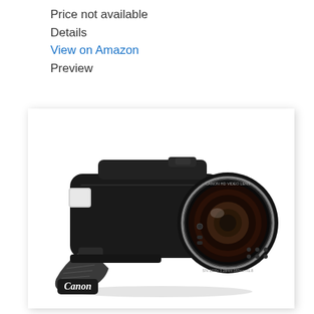Price not available
Details
View on Amazon
Preview
[Figure (photo): Canon camcorder (black) with hand strap showing Canon branding, angled product shot on white background]